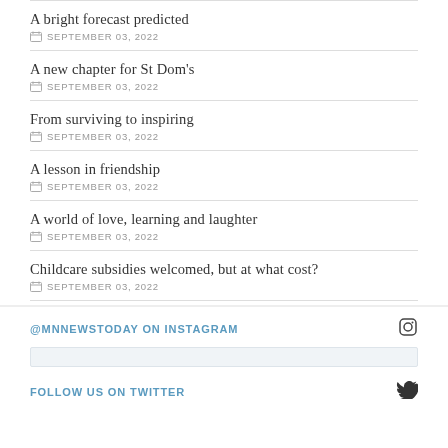A bright forecast predicted
SEPTEMBER 03, 2022
A new chapter for St Dom's
SEPTEMBER 03, 2022
From surviving to inspiring
SEPTEMBER 03, 2022
A lesson in friendship
SEPTEMBER 03, 2022
A world of love, learning and laughter
SEPTEMBER 03, 2022
Childcare subsidies welcomed, but at what cost?
SEPTEMBER 03, 2022
@MNNEWSTODAY ON INSTAGRAM
FOLLOW US ON TWITTER